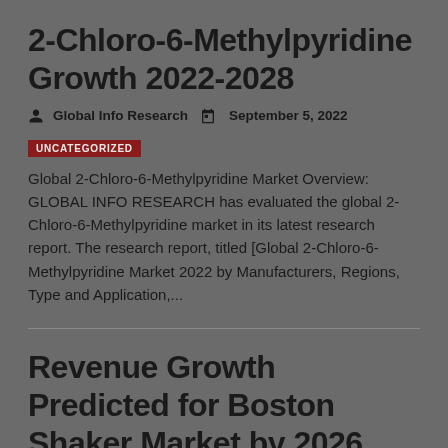2-Chloro-6-Methylpyridine Growth 2022-2028
Global Info Research   September 5, 2022
UNCATEGORIZED
Global 2-Chloro-6-Methylpyridine Market Overview: GLOBAL INFO RESEARCH has evaluated the global 2-Chloro-6-Methylpyridine market in its latest research report. The research report, titled [Global 2-Chloro-6-Methylpyridine Market 2022 by Manufacturers, Regions, Type and Application,...
Revenue Growth Predicted for Boston Shaker Market by 2026